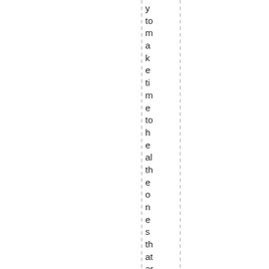y to m a k e ti m e to h e al th e o n e s th at ar e h ur ti n g a n